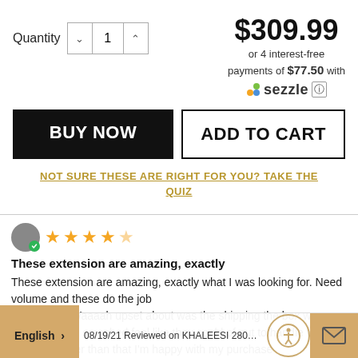$309.99
or 4 interest-free payments of $77.50 with sezzle
Quantity 1
BUY NOW
ADD TO CART
NOT SURE THESE ARE RIGHT FOR YOU? TAKE THE QUIZ
[Figure (other): 5 star rating with verified reviewer avatar]
These extension are amazing, exactly
These extension are amazing, exactly what I was looking for. Need volume and these do the job
Only thing I Waaaah upset about was the shipping the box was damaged and smashed feel like they could of put to handle with care. But other than that I'm happy with my purchase
08/19/21 Reviewed on KHALEESI 280g 20" Jet Black (1) Hair Extensions
English >